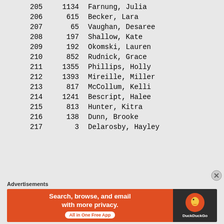| # | ID | Name |
| --- | --- | --- |
| 205 | 1134 | Farnung, Julia |
| 206 | 615 | Becker, Lara |
| 207 | 65 | Vaughan, Desaree |
| 208 | 197 | Shallow, Kate |
| 209 | 192 | Okomski, Lauren |
| 210 | 852 | Rudnick, Grace |
| 211 | 1355 | Phillips, Holly |
| 212 | 1393 | Mireille, Miller |
| 213 | 817 | McCollum, Kelli |
| 214 | 1241 | Bescript, Halee |
| 215 | 813 | Hunter, Kitra |
| 216 | 138 | Dunn, Brooke |
| 217 | 3 | Delarosby, Hayley |
Advertisements
[Figure (other): DuckDuckGo advertisement banner: Search, browse, and email with more privacy. All in One Free App.]